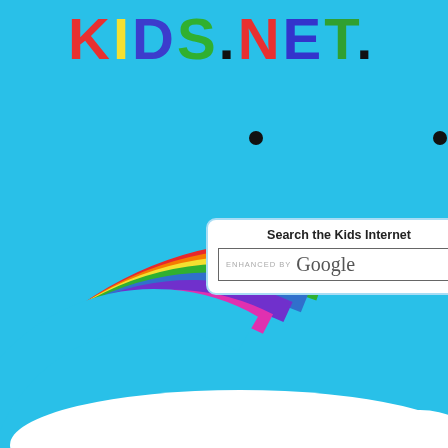[Figure (screenshot): Kids.Net. website screenshot showing rainbow background, logo, Google search bar, navigation clouds with Home, Web Sites, Encyclopedia links, and article content for Sand Martin]
KIDS.NET.
Search the Kids Internet
ENHANCED BY Google
Encyclopedia > Sand Martin
Article Content
Sand Martin
The Sand Martin (Riparia riparia) is a migratory p... in the swallow family.
It has a wide range in summer, embracing practic...